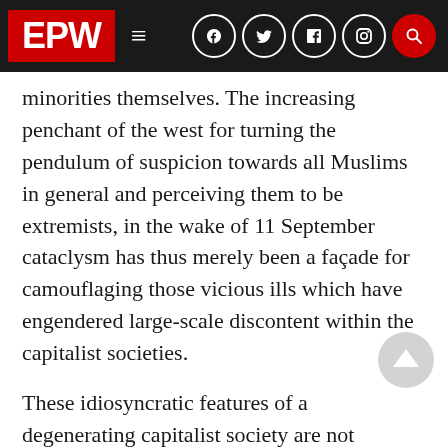EPW
minorities themselves. The increasing penchant of the west for turning the pendulum of suspicion towards all Muslims in general and perceiving them to be extremists, in the wake of 11 September cataclysm has thus merely been a façade for camouflaging those vicious ills which have engendered large-scale discontent within the capitalist societies.
These idiosyncratic features of a degenerating capitalist society are not catapulted from outside, but are deeply embedded under the skin of a liberal capitalist society itself. Forces such as and unrestrained industrialisation, ruthless urbanisation, atomisation of the individual, grave